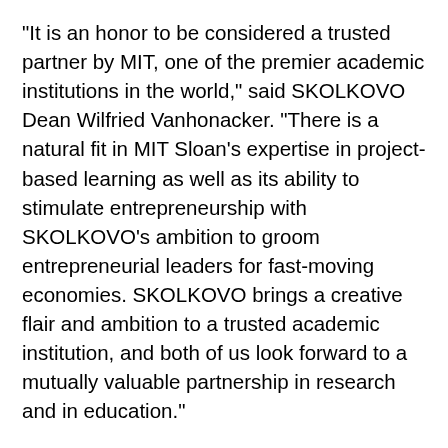"It is an honor to be considered a trusted partner by MIT, one of the premier academic institutions in the world," said SKOLKOVO Dean Wilfried Vanhonacker. "There is a natural fit in MIT Sloan's expertise in project-based learning as well as its ability to stimulate entrepreneurship with SKOLKOVO's ambition to groom entrepreneurial leaders for fast-moving economies. SKOLKOVO brings a creative flair and ambition to a trusted academic institution, and both of us look forward to a mutually valuable partnership in research and in education."
The SKOLKOVO effort, said MIT Sloan Dean David C. Schmittlein, "ties into MIT Sloan's mission, which is to develop principled, innovative leaders who improve the world. Working with SKOLKOVO, all...